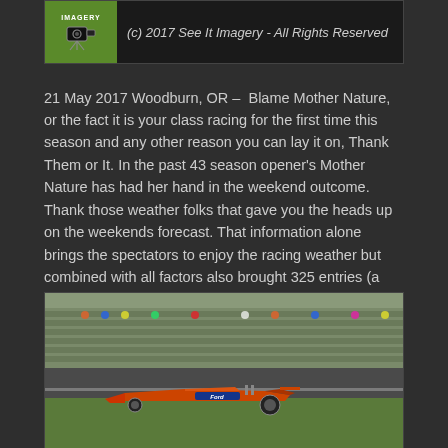[Figure (photo): See It Imagery logo with camera icon and copyright text: (c) 2017 See It Imagery - All Rights Reserved]
21 May 2017 Woodburn, OR – Blame Mother Nature, or the fact it is your class racing for the first time this season and any other reason you can lay it on, Thank Them or It. In the past 43 season opener's Mother Nature has had her hand in the weekend outcome. Thank those weather folks that gave you the heads up on the weekends forecast. That information alone brings the spectators to enjoy the racing weather but combined with all factors also brought 325 entries (a record number) to Woodburn for the season opener.
[Figure (photo): Drag racing car with Ford logo sponsorship on a race track with spectators in the stands in the background]